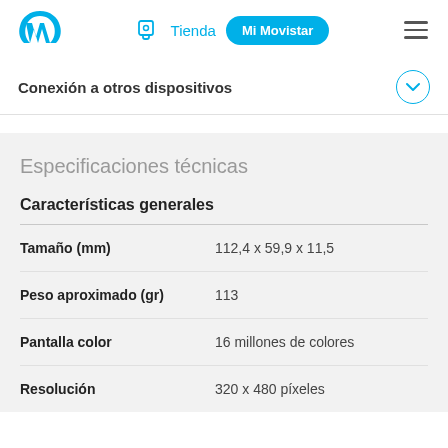[Figure (logo): Movistar logo - blue stylized M]
Tienda   Mi Movistar
Conexión a otros dispositivos
Especificaciones técnicas
Características generales
| Característica | Valor |
| --- | --- |
| Tamaño (mm) | 112,4 x 59,9 x 11,5 |
| Peso aproximado (gr) | 113 |
| Pantalla color | 16 millones de colores |
| Resolución | 320 x 480 píxeles |